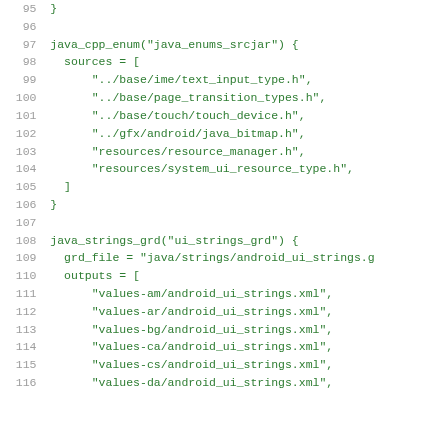[Figure (screenshot): Source code listing showing lines 95-116 of a build configuration file. Lines are in green monospace font with grey line numbers. Shows java_cpp_enum and java_strings_grd build rules with file path strings.]